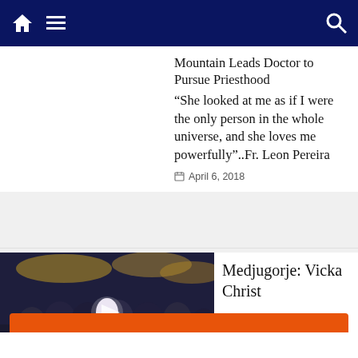Navigation bar with home, menu, and search icons
Mountain Leads Doctor to Pursue Priesthood
“She looked at me as if I were the only person in the whole universe, and she loves me powerfully”..Fr. Leon Pereira
April 6, 2018
[Figure (photo): Group of people at what appears to be an outdoor religious or ceremonial event with flowers]
Medjugorje: Vicka Christ
Help send medical aid to Ukraine >>  Direct Relief